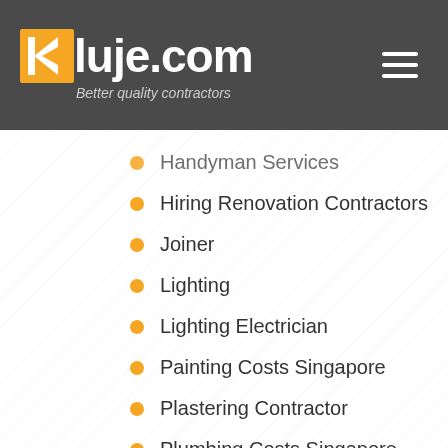[Figure (logo): Kluje.com logo with orange K icon and tagline 'Better quality contractors' on dark grey header background]
Handyman Services
Hiring Renovation Contractors
Joiner
Lighting
Lighting Electrician
Painting Costs Singapore
Plastering Contractor
Plumbing Costs Singapore
Renovation Contractor